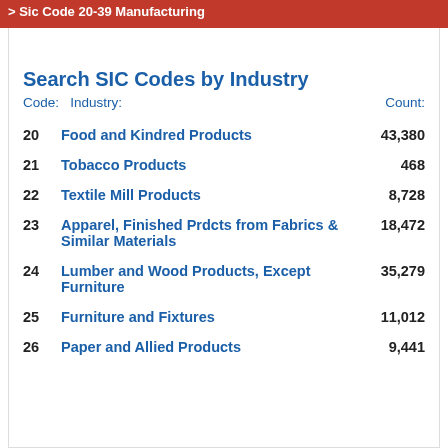> Sic Code 20-39 Manufacturing
Search SIC Codes by Industry
| Code: | Industry: | Count: |
| --- | --- | --- |
| 20 | Food and Kindred Products | 43,380 |
| 21 | Tobacco Products | 468 |
| 22 | Textile Mill Products | 8,728 |
| 23 | Apparel, Finished Prdcts from Fabrics & Similar Materials | 18,472 |
| 24 | Lumber and Wood Products, Except Furniture | 35,279 |
| 25 | Furniture and Fixtures | 11,012 |
| 26 | Paper and Allied Products | 9,441 |